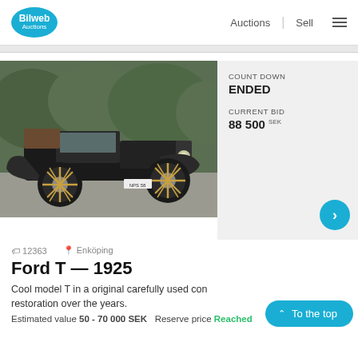Bilweb Auctions | Auctions | Sell
[Figure (photo): A vintage black 1925 Ford Model T open-top touring car with wooden spoke wheels, photographed outdoors with trees in background]
COUNT DOWN
ENDED
CURRENT BID
88 500 SEK
12363   Enköping
Ford T — 1925
Cool model T in a original carefully used condition with no restoration over the years.
Estimated value 50 - 70 000 SEK   Reserve price Reached